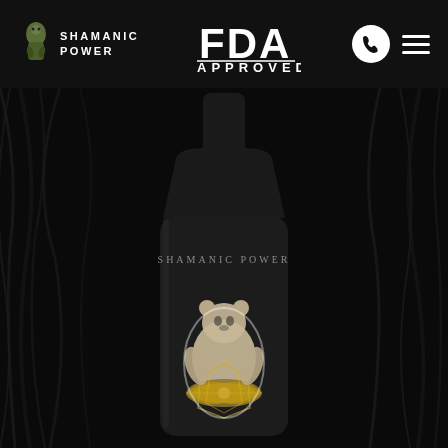[Figure (logo): Shamanic Power brand logo with small figurine icon and text SHAMANIC POWER]
[Figure (logo): FDA APPROVED logo in white text]
[Figure (photo): Dark product photo showing a black bottle with SHAMANIC POWER label featuring an ornate bear/animal figure with golden mandala design on dark background with black hair texture]